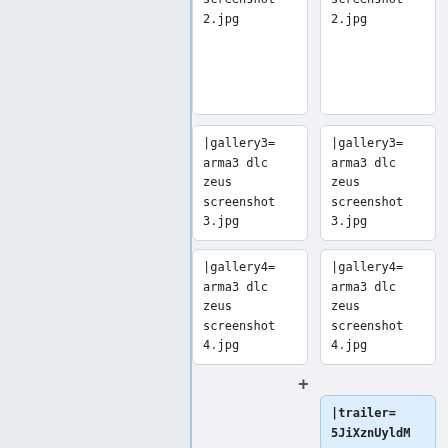arma3 dlc zeus screenshot 2.jpg
arma3 dlc zeus screenshot 2.jpg
|gallery3= arma3 dlc zeus screenshot 3.jpg
|gallery3= arma3 dlc zeus screenshot 3.jpg
|gallery4= arma3 dlc zeus screenshot 4.jpg
|gallery4= arma3 dlc zeus screenshot 4.jpg
|trailer= 5JiXznUyldM
|dlcs= [[File:arma3 zeus